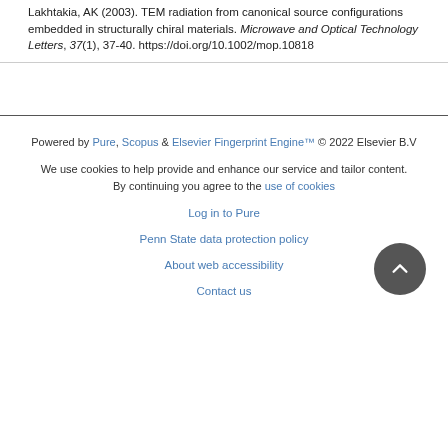Lakhtakia, AK (2003). TEM radiation from canonical source configurations embedded in structurally chiral materials. Microwave and Optical Technology Letters, 37(1), 37-40. https://doi.org/10.1002/mop.10818
Powered by Pure, Scopus & Elsevier Fingerprint Engine™ © 2022 Elsevier B.V
We use cookies to help provide and enhance our service and tailor content. By continuing you agree to the use of cookies
Log in to Pure
Penn State data protection policy
About web accessibility
Contact us